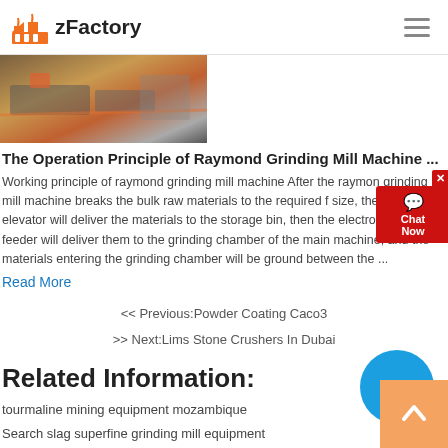zFactory
[Figure (photo): Industrial grinding/crushing equipment machinery photo]
The Operation Principle of Raymond Grinding Mill Machine ...
Working principle of raymond grinding mill machine After the raymond grinding mill machine breaks the bulk raw materials to the required f size, the bucket elevator will deliver the materials to the storage bin, then the electromagnetic feeder will deliver them to the grinding chamber of the main machine, and the materials entering the grinding chamber will be ground between the ...
Read More
<< Previous:Powder Coating Caco3
>> Next:Lims Stone Crushers In Dubai
Related Information:
tourmaline mining equipment mozambique
Search slag superfine grinding mill equipment